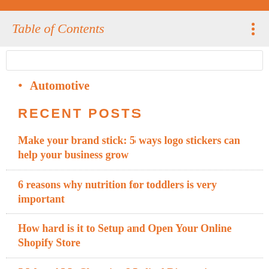Table of Contents
Automotive
RECENT POSTS
Make your brand stick: 5 ways logo stickers can help your business grow
6 reasons why nutrition for toddlers is very important
How hard is it to Setup and Open Your Online Shopify Store
5 Ways AI Is Changing Medical Diagnosis